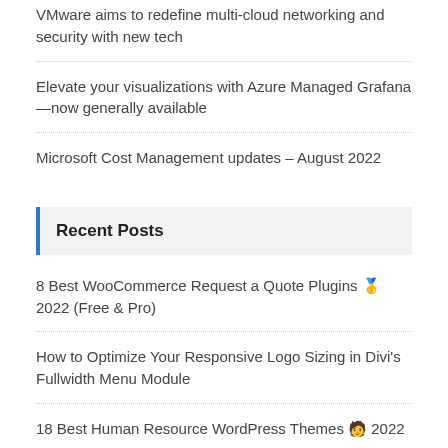VMware aims to redefine multi-cloud networking and security with new tech
Elevate your visualizations with Azure Managed Grafana—now generally available
Microsoft Cost Management updates – August 2022
Recent Posts
8 Best WooCommerce Request a Quote Plugins 🥇 2022 (Free & Pro)
How to Optimize Your Responsive Logo Sizing in Divi's Fullwidth Menu Module
18 Best Human Resource WordPress Themes 🧑 2022